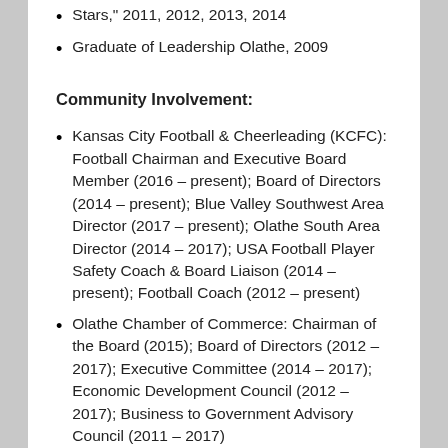Stars," 2011, 2012, 2013, 2014
Graduate of Leadership Olathe, 2009
Community Involvement:
Kansas City Football & Cheerleading (KCFC): Football Chairman and Executive Board Member (2016 – present); Board of Directors (2014 – present); Blue Valley Southwest Area Director (2017 – present); Olathe South Area Director (2014 – 2017); USA Football Player Safety Coach & Board Liaison (2014 – present); Football Coach (2012 – present)
Olathe Chamber of Commerce: Chairman of the Board (2015); Board of Directors (2012 – 2017); Executive Committee (2014 – 2017); Economic Development Council (2012 – 2017); Business to Government Advisory Council (2011 – 2017)